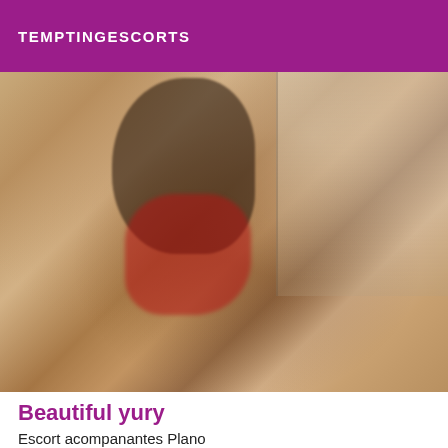TEMPTINGESCORTS
[Figure (photo): A young woman in red lingerie posing on a bathroom counter in front of a mirror]
Beautiful yury
Escort acompanantes Plano